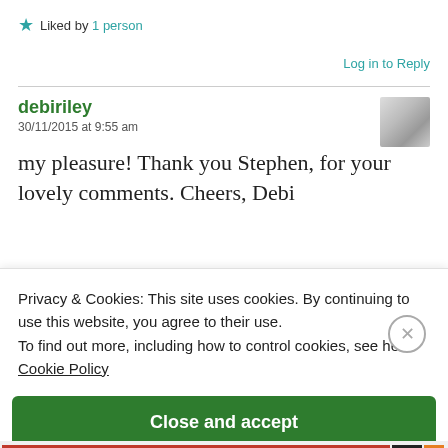★ Liked by 1 person
Log in to Reply
debiriley
30/11/2015 at 9:55 am
my pleasure! Thank you Stephen, for your lovely comments. Cheers, Debi
Privacy & Cookies: This site uses cookies. By continuing to use this website, you agree to their use.
To find out more, including how to control cookies, see here: Cookie Policy
Close and accept